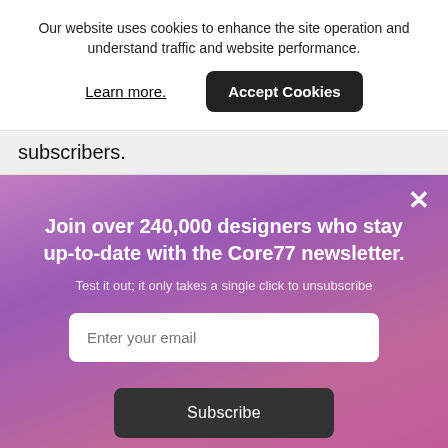Our website uses cookies to enhance the site operation and understand traffic and website performance.
Learn more.
Accept Cookies
subscribers.
×
Join over 240,000 designers who stay up-to-date with the Core77 newsletter.
Test it out; it only takes a single click to unsubscribe
Enter your email
Subscribe